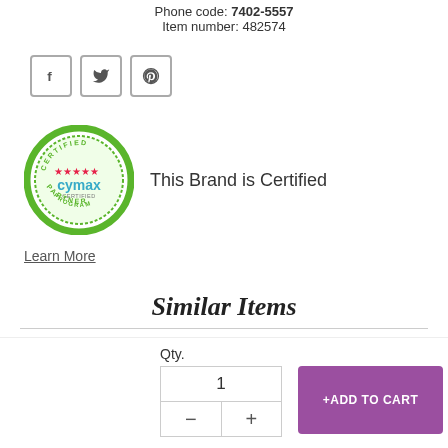Phone code: 7402-5557
Item number: 482574
[Figure (infographic): Social media share icons: Facebook (f), Twitter (bird), Pinterest (p) inside rounded square borders]
[Figure (logo): Cymax Certified Partner badge - circular green border with stars and text 'CERTIFIED PARTNER PROGRAM cymax']
This Brand is Certified
Learn More
Similar Items
[Figure (photo): Product photo showing a black bar table with items on top]
Qty.
1
+ADD TO CART